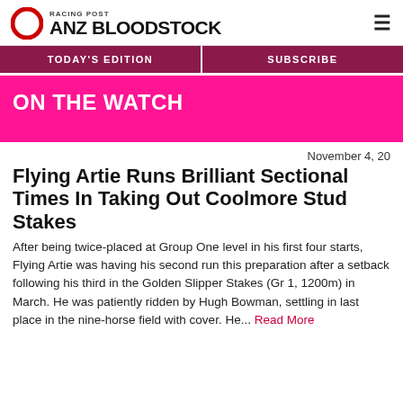RACING POST ANZ BLOODSTOCK
TODAY'S EDITION | SUBSCRIBE
ON THE WATCH
November 4, 20
Flying Artie Runs Brilliant Sectional Times In Taking Out Coolmore Stud Stakes
After being twice-placed at Group One level in his first four starts, Flying Artie was having his second run this preparation after a setback following his third in the Golden Slipper Stakes (Gr 1, 1200m) in March. He was patiently ridden by Hugh Bowman, settling in last place in the nine-horse field with cover. He... Read More